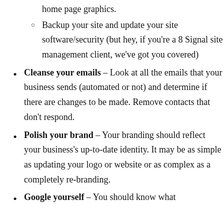home page graphics.
Backup your site and update your site software/security (but hey, if you're a 8 Signal site management client, we've got you covered)
Cleanse your emails – Look at all the emails that your business sends (automated or not) and determine if there are changes to be made. Remove contacts that don't respond.
Polish your brand – Your branding should reflect your business's up-to-date identity. It may be as simple as updating your logo or website or as complex as a completely re-branding.
Google yourself – You should know what